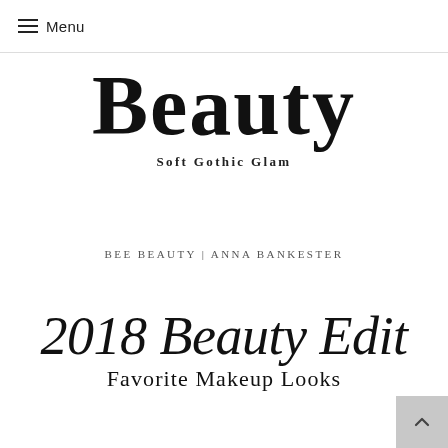☰ Menu
Beauty
Soft Gothic Glam
BEE BEAUTY | ANNA BANKESTER
2018 Beauty Edit
Favorite Makeup Looks